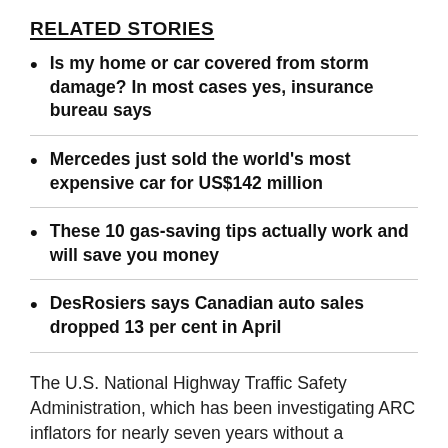RELATED STORIES
Is my home or car covered from storm damage? In most cases yes, insurance bureau says
Mercedes just sold the world's most expensive car for US$142 million
These 10 gas-saving tips actually work and will save you money
DesRosiers says Canadian auto sales dropped 13 per cent in April
The U.S. National Highway Traffic Safety Administration, which has been investigating ARC inflators for nearly seven years without a resolution, estimates that there are 51 million on